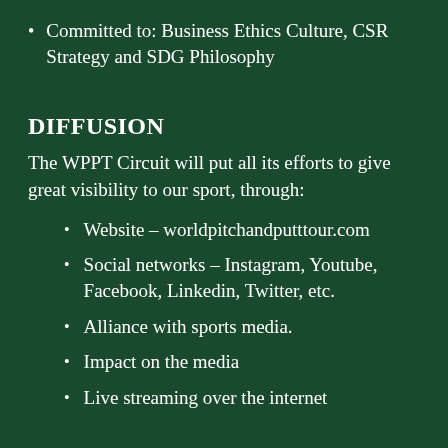Committed to: Business Ethics Culture, CSR Strategy and SDG Philosophy
DIFFUSION
The WPPT Circuit will put all its efforts to give great visibility to our sport, through:
Website – worldpitchandputttour.com
Social networks – Instagram, Youtube, Facebook, Linkedin, Twitter, etc.
Alliance with sports media.
Impact on the media
Live streaming over the internet